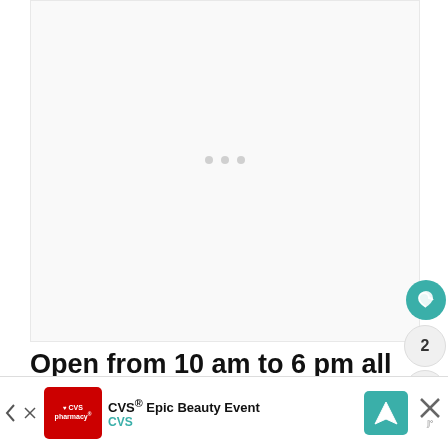[Figure (other): Large white/light gray image placeholder area with three small gray loading dots in the center]
Open from 10 am to 6 pm all days of the
[Figure (other): Advertisement banner for CVS Epic Beauty Event with CVS pharmacy logo, navigation arrow icon, and close button]